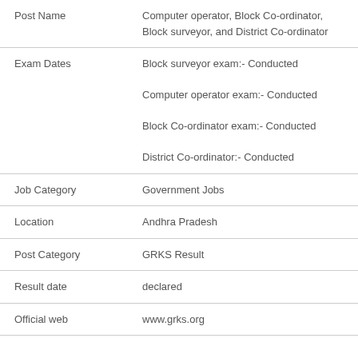| Field | Value |
| --- | --- |
| Post Name | Computer operator, Block Co-ordinator, Block surveyor, and District Co-ordinator |
| Exam Dates | Block surveyor exam:- Conducted
Computer operator exam:- Conducted
Block Co-ordinator exam:- Conducted
District Co-ordinator:- Conducted |
| Job Category | Government Jobs |
| Location | Andhra Pradesh |
| Post Category | GRKS Result |
| Result date | declared |
| Official web | www.grks.org |